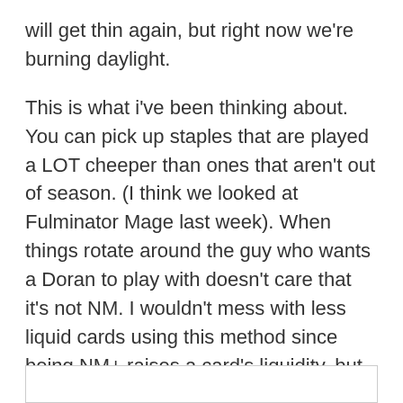will get thin again, but right now we're burning daylight.
This is what i've been thinking about. You can pick up staples that are played a LOT cheeper than ones that aren't out of season. (I think we looked at Fulminator Mage last week). When things rotate around the guy who wants a Doran to play with doesn't care that it's not NM. I wouldn't mess with less liquid cards using this method since being NM+ raises a card's liquidity, but I'm starting to question my old logic.
Log in to Reply